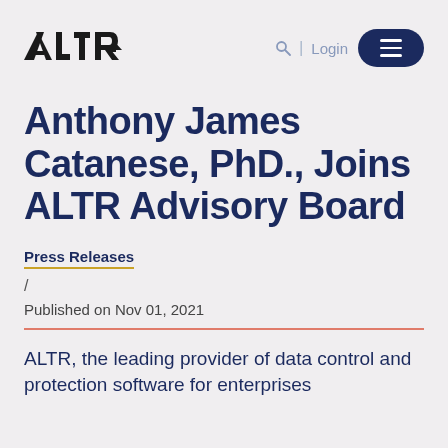ALTR | Login [menu button]
Anthony James Catanese, PhD., Joins ALTR Advisory Board
Press Releases
/
Published on Nov 01, 2021
ALTR, the leading provider of data control and protection software for enterprises